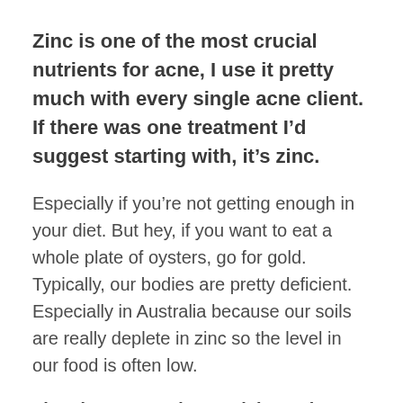Zinc is one of the most crucial nutrients for acne, I use it pretty much with every single acne client. If there was one treatment I'd suggest starting with, it's zinc.
Especially if you're not getting enough in your diet. But hey, if you want to eat a whole plate of oysters, go for gold. Typically, our bodies are pretty deficient. Especially in Australia because our soils are really deplete in zinc so the level in our food is often low.
Zinc doesn't produce quick results.
It doesn't generally give you quick results because